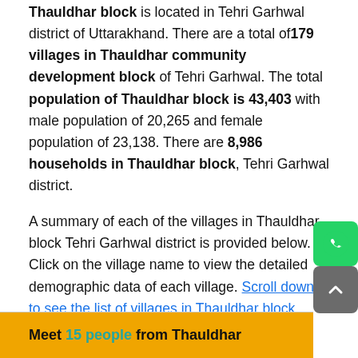Thauldhar block is located in Tehri Garhwal district of Uttarakhand. There are a total of 179 villages in Thauldhar community development block of Tehri Garhwal. The total population of Thauldhar block is 43,403 with male population of 20,265 and female population of 23,138. There are 8,986 households in Thauldhar block, Tehri Garhwal district.
A summary of each of the villages in Thauldhar block Tehri Garhwal district is provided below. Click on the village name to view the detailed demographic data of each village. Scroll down to see the list of villages in Thauldhar block.
Check out list of all blocks in Tehri Garhwal district.
Meet 15 people from Thauldhar